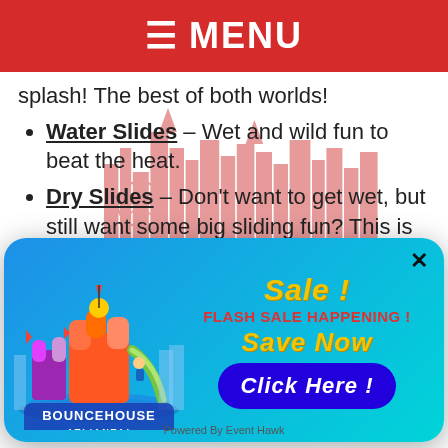≡ MENU
splash! The best of both worlds!
Water Slides – Wet and wild fun to beat the heat.
Dry Slides – Don't want to get wet, but still want some big sliding fun? This is
[Figure (screenshot): Popup advertisement for Bounce House Atlanta showing a flash sale with a 'Click Here!' button and logo featuring bouncy castles and city skyline. Text reads 'SALE!', 'FLASH SALE HAPPENING!', 'Save Now', 'Click Here!', and 'Powered By Event Hawk'.]